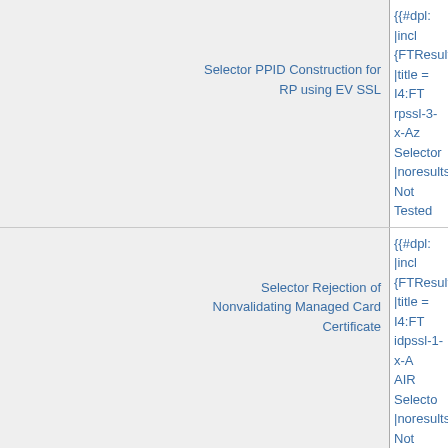| Test Name | Template / Result |
| --- | --- |
| Selector PPID Construction for RP using EV SSL | {{#dpl: |incl...
{FTResult}:
|title = I4:FT
rpssl-3-x-Az
Selector
|noresultsh...
Not Tested |
| Selector Rejection of Nonvalidating Managed Card Certificate | {{#dpl: |incl...
{FTResult}:
|title = I4:FT
idpssl-1-x-A
AIR Selecto
|noresultsh...
Not Tested |
| Protocol Support Tests |  |
|  | {{#dpl: |incl...
{FTResult}:
|title = I4:FT |